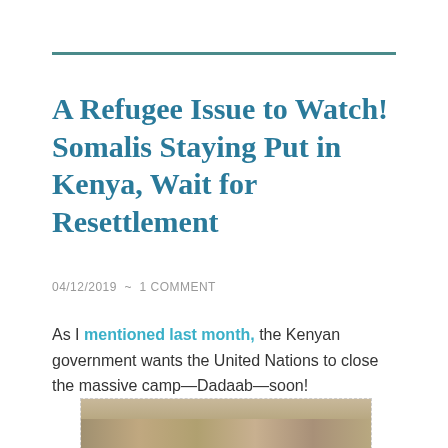A Refugee Issue to Watch! Somalis Staying Put in Kenya, Wait for Resettlement
04/12/2019  ~  1 COMMENT
As I mentioned last month, the Kenyan government wants the United Nations to close the massive camp—Dadaab—soon!
[Figure (photo): Photograph of Dadaab refugee camp showing rows of white structures in a desert landscape]